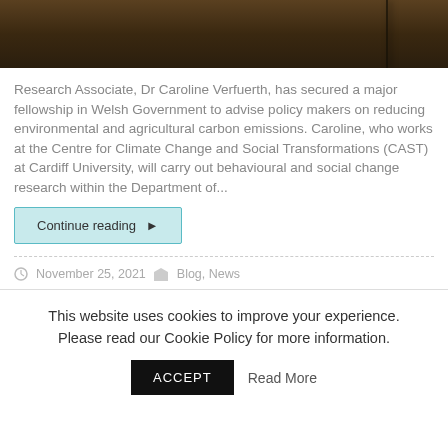[Figure (photo): Dark brownish-orange hazy photo, possibly smoke or fire scene with a vertical pole/structure visible on the right side]
Research Associate, Dr Caroline Verfuerth, has secured a major fellowship in Welsh Government to advise policy makers on reducing environmental and agricultural carbon emissions. Caroline, who works at the Centre for Climate Change and Social Transformations (CAST) at Cardiff University, will carry out behavioural and social change research within the Department of...
Continue reading ▶
November 25, 2021   Blog, News
This website uses cookies to improve your experience. Please read our Cookie Policy for more information.
ACCEPT   Read More